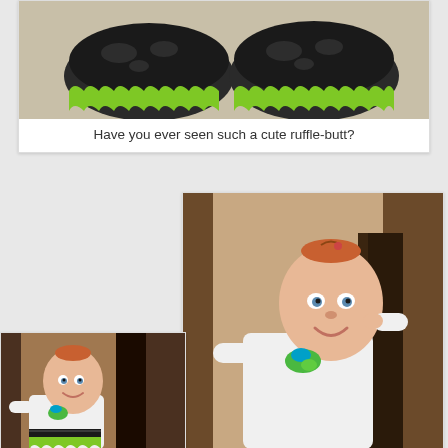[Figure (photo): Close-up photo of baby shoes with black and white cow print fabric and bright green ruffled edges, placed on a light carpet]
Have you ever seen such a cute ruffle-butt?
[Figure (photo): Small photo of a baby/toddler in a white long-sleeve shirt with green and teal ruffle outfit accessory, standing near dark wood furniture]
[Figure (photo): Large photo of a smiling baby/toddler with reddish hair and blue eyes, wearing a white long-sleeve shirt with teal and green flower/ruffle accessory, leaning on dark wood furniture]